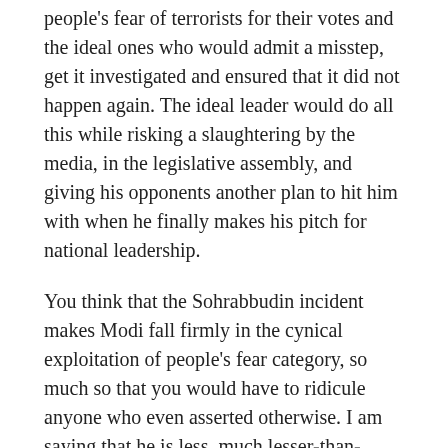people's fear of terrorists for their votes and the ideal ones who would admit a misstep, get it investigated and ensured that it did not happen again. The ideal leader would do all this while risking a slaughtering by the media, in the legislative assembly, and giving his opponents another plan to hit him with when he finally makes his pitch for national leadership.
You think that the Sohrabbudin incident makes Modi fall firmly in the cynical exploitation of people's fear category, so much so that you would have to ridicule anyone who even asserted otherwise. I am saying that he is less, much lesser-than-ideal, and that he has politically expedient reasons for continuing to defend Vanzara, but that in no way conclusively makes him fall into that category. It just makes him fall into one of the multitudes in between – a person who is far from being an ideal terrorism fighter, but who is much truer to the anti-terrorism agenda than,